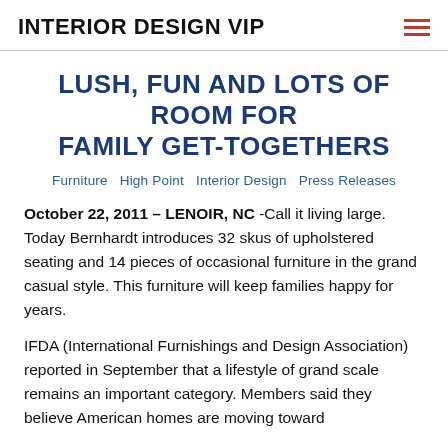INTERIOR DESIGN VIP
LUSH, FUN AND LOTS OF ROOM FOR FAMILY GET-TOGETHERS
Furniture  High Point  Interior Design  Press Releases
October 22, 2011 – LENOIR, NC -Call it living large. Today Bernhardt introduces 32 skus of upholstered seating and 14 pieces of occasional furniture in the grand casual style. This furniture will keep families happy for years.
IFDA (International Furnishings and Design Association) reported in September that a lifestyle of grand scale remains an important category. Members said they believe American homes are moving toward